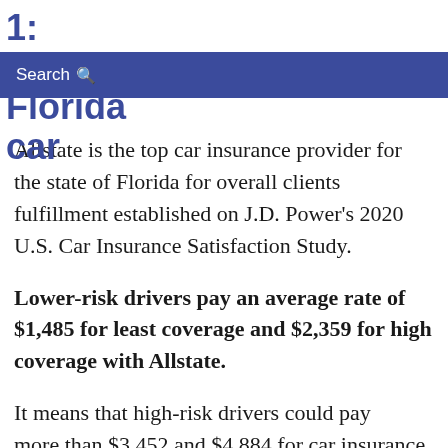1: Allstate Florida car
Search
Allstate is the top car insurance provider for the state of Florida for overall clients fulfillment established on J.D. Power's 2020 U.S. Car Insurance Satisfaction Study.
Lower-risk drivers pay an average rate of $1,485 for least coverage and $2,359 for high coverage with Allstate.
It means that high-risk drivers could pay more than $3,452 and $4,884 for car insurance